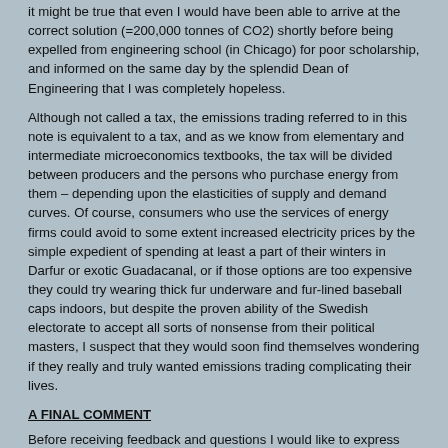it might be true that even I would have been able to arrive at the correct solution (=200,000 tonnes of CO2) shortly before being expelled from engineering school (in Chicago) for poor scholarship, and informed on the same day by the splendid Dean of Engineering that I was completely hopeless.
Although not called a tax, the emissions trading referred to in this note is equivalent to a tax, and as we know from elementary and intermediate microeconomics textbooks, the tax will be divided between producers and the persons who purchase energy from them – depending upon the elasticities of supply and demand curves. Of course, consumers who use the services of energy firms could avoid to some extent increased electricity prices by the simple expedient of spending at least a part of their winters in Darfur or exotic Guadacanal, or if those options are too expensive they could try wearing thick fur underware and fur-lined baseball caps indoors, but despite the proven ability of the Swedish electorate to accept all sorts of nonsense from their political masters, I suspect that they would soon find themselves wondering if they really and truly wanted emissions trading complicating their lives.
A FINAL COMMENT
Before receiving feedback and questions I would like to express once more a genuine belief that emissions trading (or carbon trading) or cap-and-trading is one of the most absurd departures in modern economics, and is exceeded only by the scandalous resort to electric deregulation. Both of these 'work', if that is the correct expression, only in the early chapters of elementary economics textbooks that view supply and demand through the rosy prism of full competition. In case readers have forgotten what that means I cite the criteria given by O'Sullivan and Sheffrin in their excellent introductory textbook: informed buyers and sellers, perfect competition, and no spillover benefits and costs. What about uncertainty? Well, sharp and alert consumers and producers could be beautifully informed about present